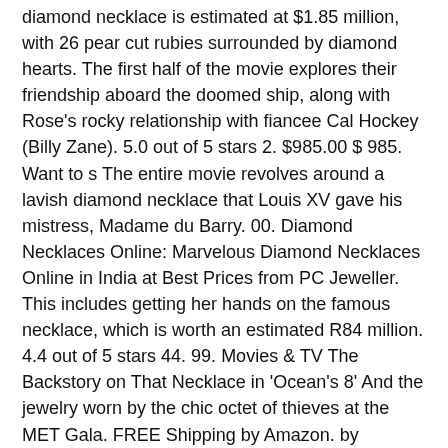diamond necklace is estimated at $1.85 million, with 26 pear cut rubies surrounded by diamond hearts. The first half of the movie explores their friendship aboard the doomed ship, along with Rose's rocky relationship with fiancee Cal Hockey (Billy Zane). 5.0 out of 5 stars 2. $985.00 $ 985. Want to s The entire movie revolves around a lavish diamond necklace that Louis XV gave his mistress, Madame du Barry. 00. Diamond Necklaces Online: Marvelous Diamond Necklaces Online in India at Best Prices from PC Jeweller. This includes getting her hands on the famous necklace, which is worth an estimated R84 million. 4.4 out of 5 stars 44. 99. Movies & TV The Backstory on That Necklace in 'Ocean's 8' And the jewelry worn by the chic octet of thieves at the MET Gala. FREE Shipping by Amazon. by Caroline Dweck. $169.99 $ 169. Three levels of life situations that connect protagonist Arun Kumar with three women. The story was first published on 17 February ... $37.99 $ 37. Watch Diamond Necklace streaming in HD without downloading FREE..!!. com.Share this Rating. Mathilde's disregard for the present caused her to